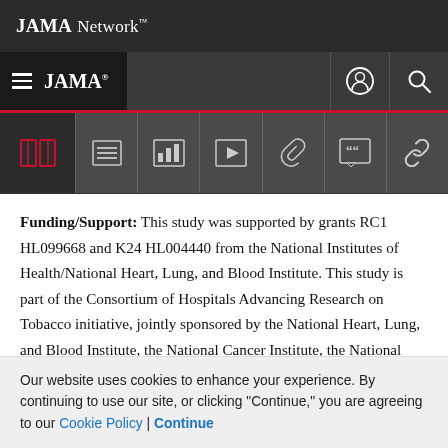JAMA Network
JAMA®
Funding/Support: This study was supported by grants RC1 HL099668 and K24 HL004440 from the National Institutes of Health/National Heart, Lung, and Blood Institute. This study is part of the Consortium of Hospitals Advancing Research on Tobacco initiative, jointly sponsored by the National Heart, Lung, and Blood Institute, the National Cancer Institute, the National Institute on Drug Abuse, and the National Institutes of
Our website uses cookies to enhance your experience. By continuing to use our site, or clicking "Continue," you are agreeing to our Cookie Policy | Continue